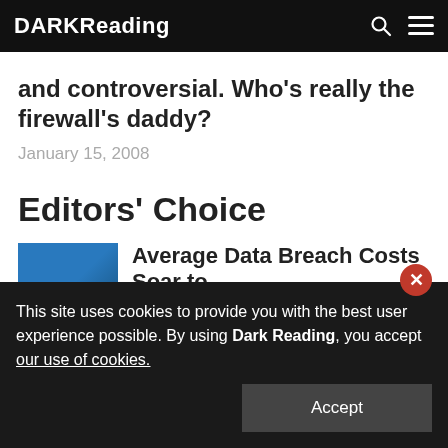DARK Reading
and controversial. Who's really the firewall's daddy?
January 15, 2008
Editors' Choice
Average Data Breach Costs Soar to
This site uses cookies to provide you with the best user experience possible. By using Dark Reading, you accept our use of cookies.